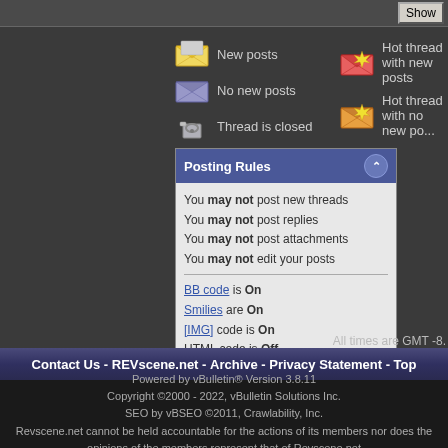[Figure (screenshot): Show button in top bar]
New posts
Hot thread with new posts
No new posts
Hot thread with no new po...
Thread is closed
Posting Rules
You may not post new threads
You may not post replies
You may not post attachments
You may not edit your posts
BB code is On
Smilies are On
[IMG] code is On
HTML code is Off
Forum Rules
All times are GMT -8.
Contact Us - REVscene.net - Archive - Privacy Statement - Top
Powered by vBulletin® Version 3.8.11
Copyright ©2000 - 2022, vBulletin Solutions Inc.
SEO by vBSEO ©2011, Crawlability, Inc.
Revscene.net cannot be held accountable for the actions of its members nor does the opinions of the members represent that of Revscene.net